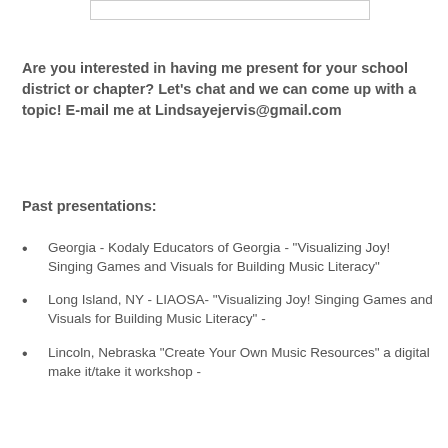[Figure (other): White rectangle with border at top of page]
Are you interested in having me present for your school district or chapter? Let's chat and we can come up with a topic! E-mail me at Lindsayejervis@gmail.com
Past presentations:
Georgia - Kodaly Educators of Georgia - "Visualizing Joy! Singing Games and Visuals for Building Music Literacy"
Long Island, NY - LIAOSA-  "Visualizing Joy! Singing Games and Visuals for Building Music Literacy" -
Lincoln, Nebraska "Create Your Own Music Resources" a digital make it/take it workshop -